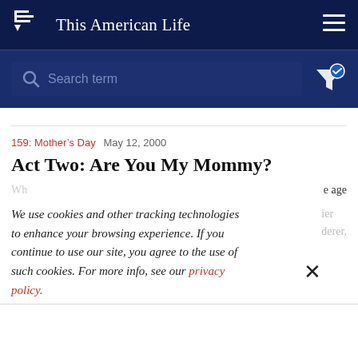This American Life
[Figure (screenshot): Search bar with placeholder text 'Search term' on dark navy background with filter icon]
159: Mother's Day  May 12, 2000
Act Two: Are You My Mommy?
We use cookies and other tracking technologies to enhance your browsing experience. If you continue to use our site, you agree to the use of such cookies. For more info, see our privacy policy.